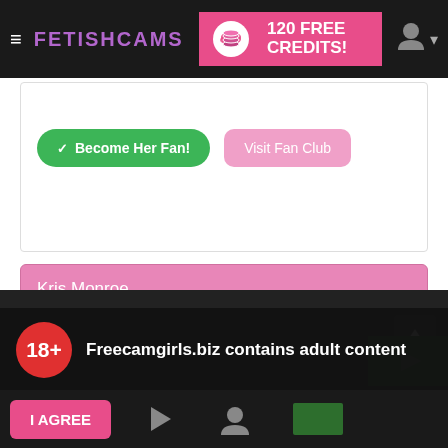≡ FETISHCAMS  120 FREE CREDITS!
✓ Become Her Fan!  Visit Fan Club
Kris Monroe
Freecamgirls.biz contains adult content
By using the site, you acknowledge you have read our Privacy Policy, and agree to our Terms and Conditions.
We use cookies to optimize your experience, analyze traffic, and deliver more personalized service. To learn more, please see our Privacy Policy.
I AGREE